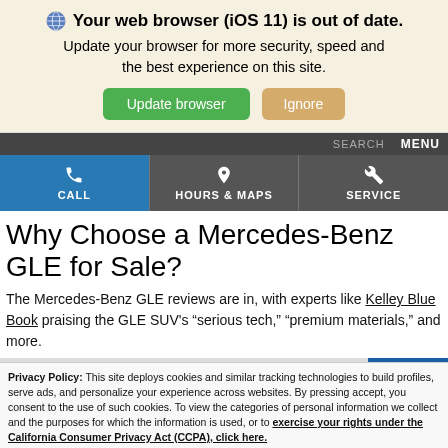Your web browser (iOS 11) is out of date. Update your browser for more security, speed and the best experience on this site. [Update browser] [Ignore]
of Fairfield  SEARCH  MENU
[Figure (infographic): Navigation bar with CALL, HOURS & MAPS, and SERVICE buttons]
Why Choose a Mercedes-Benz GLE for Sale?
The Mercedes-Benz GLE reviews are in, with experts like Kelley Blue Book praising the GLE SUV's “serious tech,” “premium materials,” and more.
Privacy Policy: This site deploys cookies and similar tracking technologies to build profiles, serve ads, and personalize your experience across websites. By pressing accept, you consent to the use of such cookies. To view the categories of personal information we collect and the purposes for which the information is used, or to exercise your rights under the California Consumer Privacy Act (CCPA), click here.
Language: English ∨ Powered by ComplyAuto
Accept and Continue →  California Privacy Disclosures  ×